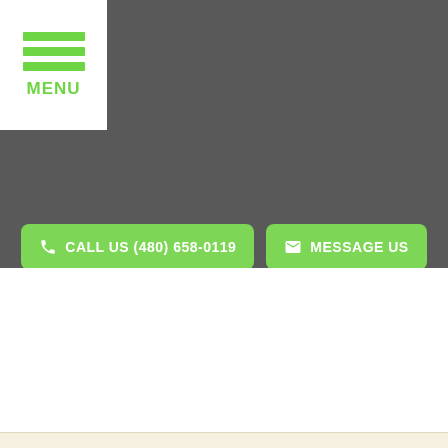[Figure (screenshot): Dark gray header area with white menu box in top-left corner containing three green horizontal bars and green MENU label]
CALL US (480) 658-0119
MESSAGE US
[Figure (screenshot): White content area below the dark header]
[Figure (screenshot): Light beige/cream bottom bar]